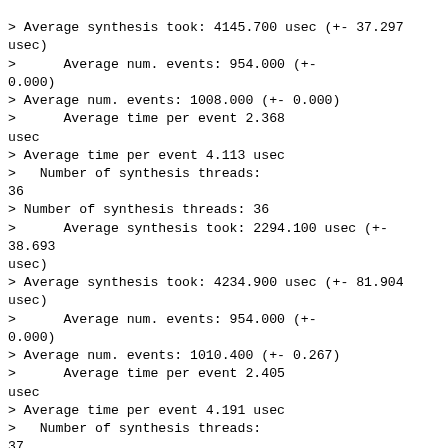> Average synthesis took: 4145.700 usec (+- 37.297 usec)
>      Average num. events: 954.000 (+-
0.000)
> Average num. events: 1008.000 (+- 0.000)
>      Average time per event 2.368
usec
> Average time per event 4.113 usec
>   Number of synthesis threads:
36
> Number of synthesis threads: 36
>      Average synthesis took: 2294.100 usec (+- 38.693
usec)
> Average synthesis took: 4234.900 usec (+- 81.904
usec)
>      Average num. events: 954.000 (+-
0.000)
> Average num. events: 1010.400 (+- 0.267)
>      Average time per event 2.405
usec
> Average time per event 4.191 usec
>   Number of synthesis threads:
37
> Number of synthesis threads: 37
>      Average synthesis took: 2338.900 usec (+- 80.346
usec)
> Average synthesis took: 4337.900 usec (+- 30.071
usec)
>      Average num. events: 954.400 (+-
0.267)
> Average num. events: 1011.300 (+- 0.000)